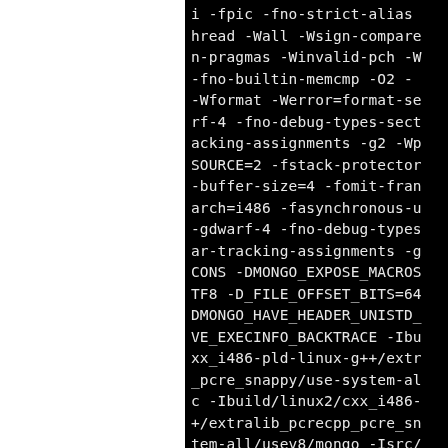i -fpic -fno-strict-alias-pthread -Wall -Wsign-compare -Wno-unknown-pragmas -Winvalid-pch -Wno-defaulted-function-deleted -fno-builtin-memcmp -O2 -Woverloaded-virtual -Wformat -Werror=format-security -gdwarf-4 -fno-debug-types-section -fvar-tracking-assignments -g2 -Wno-maybe-uninitialized -D_FORTIFY_SOURCE=2 -fstack-protector-strong --param=ssp-buffer-size=4 -fomit-frame-pointer -march=i486 -fasynchronous-unwind-tables -gdwarf-4 -fno-debug-types-section -fvar-tracking-assignments -g2 -DMONGO_EXPOSE_MACROS -DSUPPORT_UTF8 -D_FILE_OFFSET_BITS=64 -DMONGO_HAVE_HEADER_UNISTD_H -DMONGO_HAVE_EXECINFO_BACKTRACE -Ibuild/linux2/cxx_i486-pld-linux-g++/extralib_pcre_snappy/use-system-all/usev8/mongo/extralib_pcrecpp_pcre_snappy/use-system-all/usev8 -Ibuild/linux2/cxx_i486-pld-linux-g++/extralib_pcrecpp_pcre_snappy/use-system-all/usev8/mongo -Isrc/third_party/v8/include src/mongo/client/httpclient.cpp